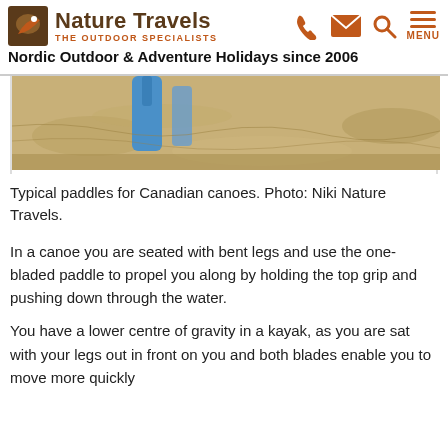Nature Travels — THE OUTDOOR SPECIALISTS
Nordic Outdoor & Adventure Holidays since 2006
[Figure (photo): Partial photo of paddles standing on sandy ground, with a blue object visible, cropped at top.]
Typical paddles for Canadian canoes. Photo: Niki Nature Travels.
In a canoe you are seated with bent legs and use the one-bladed paddle to propel you along by holding the top grip and pushing down through the water.
You have a lower centre of gravity in a kayak, as you are sat with your legs out in front on you and both blades enable you to move more quickly